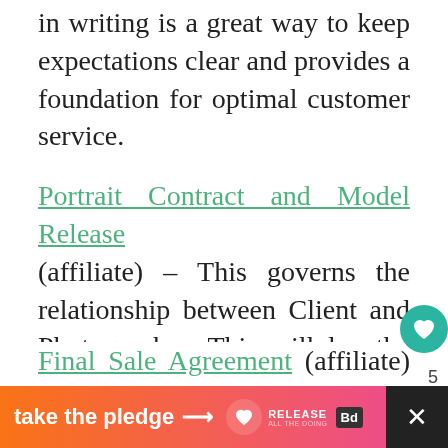in writing is a great way to keep expectations clear and provides a foundation for optimal customer service.
Portrait Contract and Model Release (affiliate) – This governs the relationship between Client and Photographer. This will lay the foundation for sales by having provisions (if drafted right!) about completion schedules, ordering deadlines, etc.
Final Sale Agreement (affiliate) – This d… doms